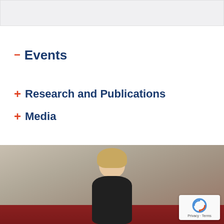[Figure (other): Light gray banner/header area at top of page]
− Events
+ Research and Publications
+ Media
[Figure (photo): Photo of a blonde woman seated on a red couch with curtains in background, with a reCAPTCHA overlay in the bottom right corner]